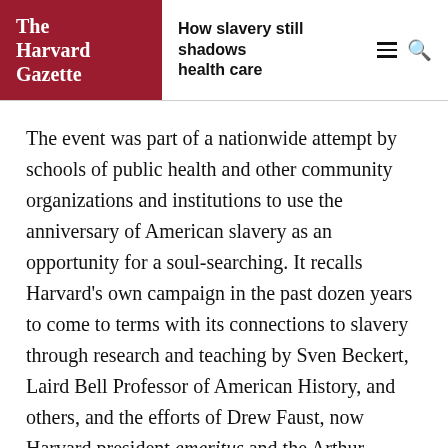The Harvard Gazette | How slavery still shadows health care
The event was part of a nationwide attempt by schools of public health and other community organizations and institutions to use the anniversary of American slavery as an opportunity for a soul-searching. It recalls Harvard's own campaign in the past dozen years to come to terms with its connections to slavery through research and teaching by Sven Beckert, Laird Bell Professor of American History, and others, and the efforts of Drew Faust, now Harvard president emeritus and the Arthur Kingsley Porter University Professor, to foster initiatives such as a major nationwide conference in 2017 on universities and slavery, and unveiling a plaque honoring early enslaved workers.